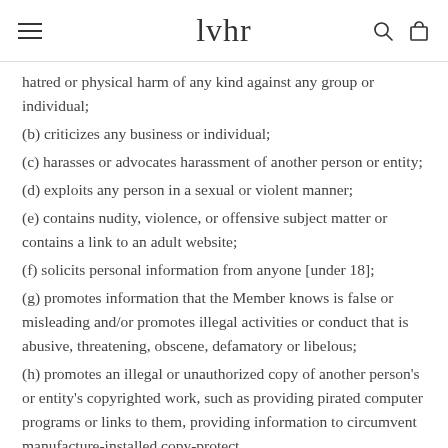lvhr [logo with hamburger menu, search, and bag icons]
hatred or physical harm of any kind against any group or individual;
(b) criticizes any business or individual;
(c) harasses or advocates harassment of another person or entity;
(d) exploits any person in a sexual or violent manner;
(e) contains nudity, violence, or offensive subject matter or contains a link to an adult website;
(f) solicits personal information from anyone [under 18];
(g) promotes information that the Member knows is false or misleading and/or promotes illegal activities or conduct that is abusive, threatening, obscene, defamatory or libelous;
(h) promotes an illegal or unauthorized copy of another person's or entity's copyrighted work, such as providing pirated computer programs or links to them, providing information to circumvent manufacture-installed copy-protect